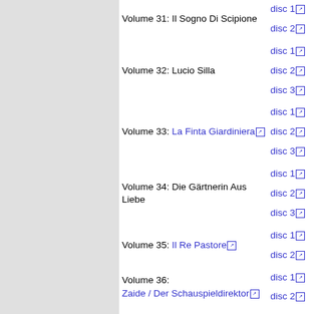| Volume | Disc | Year |
| --- | --- | --- |
| Volume 31: Il Sogno Di Scipione | disc 1 / disc 2 | 2009 |
| Volume 32: Lucio Silla | disc 1 / disc 2 / disc 3 | 2009 |
| Volume 33: La Finta Giardiniera | disc 1 / disc 2 / disc 3 | 2009 |
| Volume 34: Die Gärtnerin Aus Liebe | disc 1 / disc 2 / disc 3 | 2009 |
| Volume 35: Il Re Pastore | disc 1 / disc 2 | 2009 |
| Volume 36: Zaide / Der Schauspieldirektor | disc 1 / disc 2 | 2009 |
| Volume 37: Idomeneo, rè di Creta | iClassics / disc 1 / disc 2 / disc 3 |  |